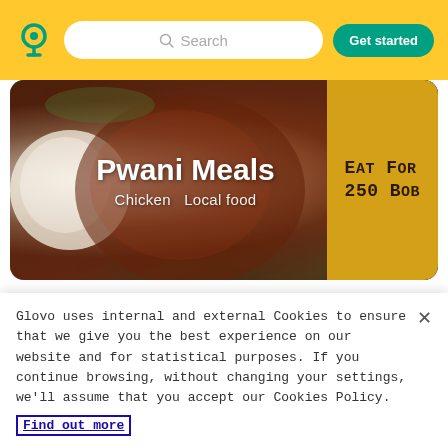[Figure (screenshot): Glovo app header with yellow background, location pin logo, search bar, and green 'Get started' button]
[Figure (photo): Pwani Meals restaurant banner with food photo on left, restaurant name 'Pwani Meals', tags 'Chicken  Local food', and yellow promo area on right reading 'EAT FOR 250 BOB']
99% (157)
Glovo uses internal and external Cookies to ensure that we give you the best experience on our website and for statistical purposes. If you continue browsing, without changing your settings, we'll assume that you accept our Cookies Policy. Find out more